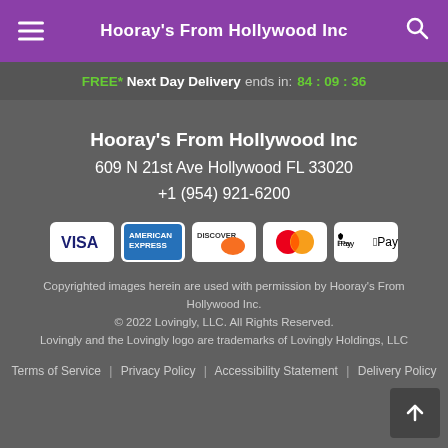Hooray's From Hollywood Inc
FREE* Next Day Delivery ends in: 84:09:36
Hooray's From Hollywood Inc
609 N 21st Ave Hollywood FL 33020
+1 (954) 921-6200
[Figure (logo): Payment method icons: VISA, American Express, Discover, Mastercard, Apple Pay]
Copyrighted images herein are used with permission by Hooray's From Hollywood Inc.
© 2022 Lovingly, LLC. All Rights Reserved.
Lovingly and the Lovingly logo are trademarks of Lovingly Holdings, LLC
Terms of Service | Privacy Policy | Accessibility Statement | Delivery Policy